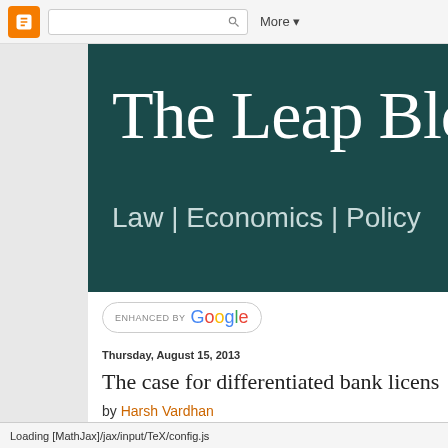Blogger toolbar with search and More button
The Leap Blog
Law | Economics | Policy
[Figure (screenshot): Enhanced by Google search bar]
Thursday, August 15, 2013
The case for differentiated bank licens
by Harsh Vardhan
Loading [MathJax]/jax/input/TeX/config.js